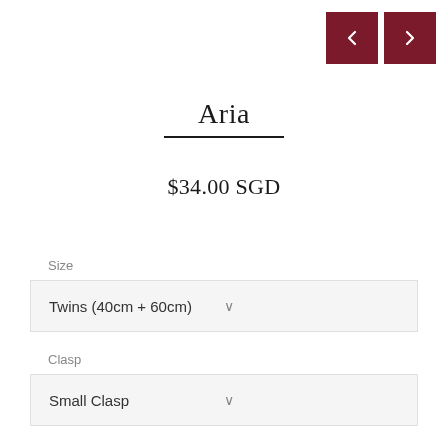[Figure (other): Navigation previous and next arrow buttons in dark red/maroon color]
Aria
$34.00 SGD
Size
Twins (40cm + 60cm)
Clasp
Small Clasp